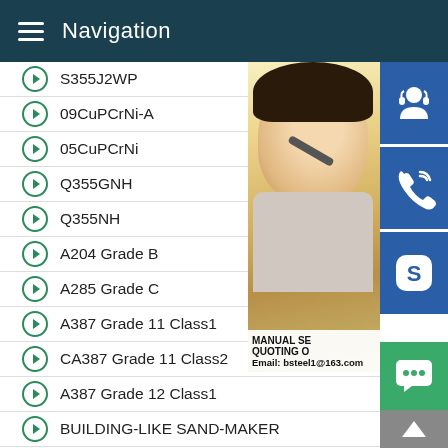Navigation
S355J2WP
09CuPCrNi-A
05CuPCrNi
Q355GNH
Q355NH
A204 Grade B
A285 Grade C
A387 Grade 11 Class1
CA387 Grade 11 Class2
A387 Grade 12 Class1
BUILDING-LIKE SAND-MAKER
[Figure (photo): Woman with headset (customer service rep) with blue icon buttons for support/phone/skype and text overlay: MANUAL SE... QUOTING O... Email: bsteel1@163.com]